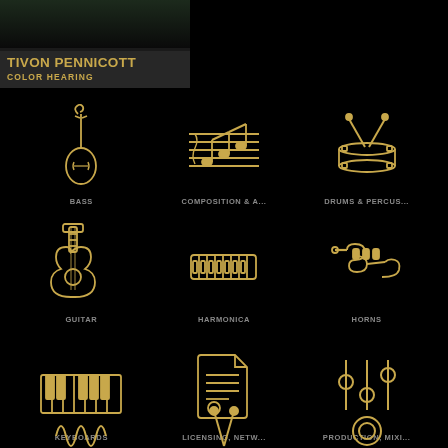[Figure (screenshot): Thumbnail of Tivon Pennicott - Color Hearing album/video with dark background showing musician]
TIVON PENNICOTT
COLOR HEARING
[Figure (infographic): Music category icons grid: Bass (cello icon), Composition & A... (sheet music icon), Drums & Percus... (snare drum icon), Guitar (guitar icon), Harmonica (harmonica icon), Horns (trumpet icon), Keyboards (piano keys icon), Licensing, Netw... (document icon), Production, Mixi... (mixer/equalizer icon), and partial row at bottom]
BASS
COMPOSITION & A...
DRUMS & PERCUS...
GUITAR
HARMONICA
HORNS
KEYBOARDS
LICENSING, NETW...
PRODUCTION, MIXI...